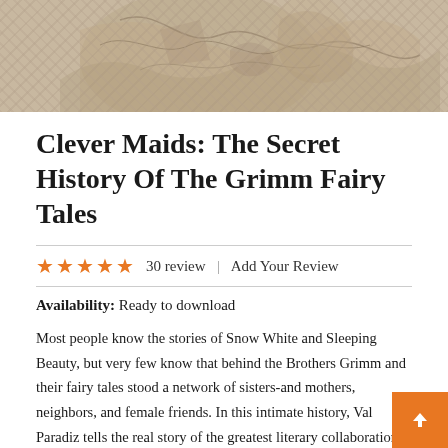[Figure (illustration): Decorative book cover image showing an engraved or illustrated scene, muted beige and grey tones, detailed line art figures]
Clever Maids: The Secret History Of The Grimm Fairy Tales
30 review | Add Your Review
Availability: Ready to download
Most people know the stories of Snow White and Sleeping Beauty, but very few know that behind the Brothers Grimm and their fairy tales stood a network of sisters-and mothers, neighbors, and female friends. In this intimate history, Valerie Paradiz tells the real story of the greatest literary collaboration of the nineteenth century, and gives the long-overdue credit to the Masters and also to the stories of S...